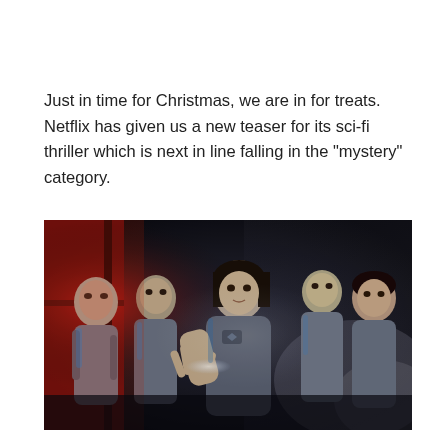Just in time for Christmas, we are in for treats. Netflix has given us a new teaser for its sci-fi thriller which is next in line falling in the "mystery" category.
[Figure (photo): Group of five people in space suits or futuristic gear in a dark, dramatic sci-fi setting. A woman in the center reaches out her hand toward the camera, holding a flashlight. Four others stand behind her, all looking alert or concerned. Red and blue lighting creates a tense atmosphere.]